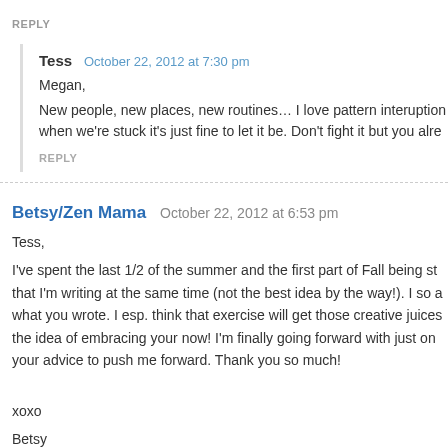REPLY
Tess   October 22, 2012 at 7:30 pm
Megan,
New people, new places, new routines… I love pattern interuption when we're stuck it's just fine to let it be. Don't fight it but you alre
REPLY
Betsy/Zen Mama   October 22, 2012 at 6:53 pm
Tess,
I've spent the last 1/2 of the summer and the first part of Fall being st that I'm writing at the same time (not the best idea by the way!). I so a what you wrote. I esp. think that exercise will get those creative juices the idea of embracing your now! I'm finally going forward with just on your advice to push me forward. Thank you so much!

xoxo
Betsy